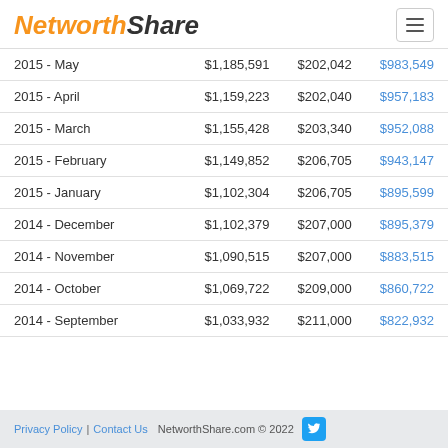NetworthShare
|  |  |  |  |
| --- | --- | --- | --- |
| 2015 - May | $1,185,591 | $202,042 | $983,549 |
| 2015 - April | $1,159,223 | $202,040 | $957,183 |
| 2015 - March | $1,155,428 | $203,340 | $952,088 |
| 2015 - February | $1,149,852 | $206,705 | $943,147 |
| 2015 - January | $1,102,304 | $206,705 | $895,599 |
| 2014 - December | $1,102,379 | $207,000 | $895,379 |
| 2014 - November | $1,090,515 | $207,000 | $883,515 |
| 2014 - October | $1,069,722 | $209,000 | $860,722 |
| 2014 - September | $1,033,932 | $211,000 | $822,932 |
Privacy Policy | Contact Us  NetworthShare.com © 2022